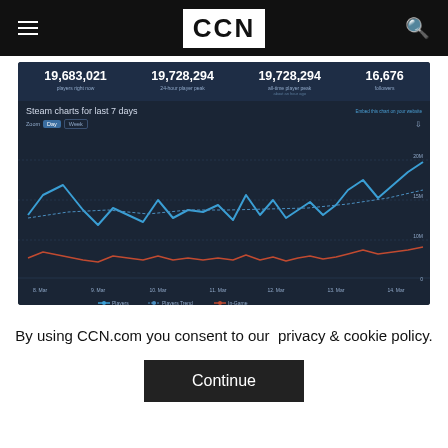CCN
[Figure (continuous-plot): Steam charts for last 7 days showing Players (blue line), Players Trend (dashed blue line), and In-Game (red/orange line) from 8 Mar to 14 Mar. Stats: 19,683,021 players right now; 19,728,294 24-hour player peak; 19,728,294 all-time player peak; 16,676 followers.]
By using CCN.com you consent to our  privacy & cookie policy.
Continue